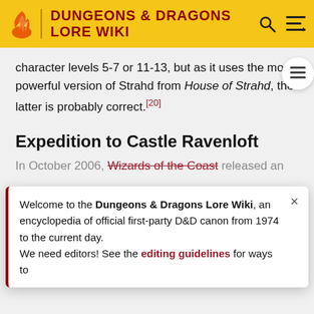DUNGEONS & DRAGONS LORE WIKI
character levels 5-7 or 11-13, but as it uses the more powerful version of Strahd from House of Strahd, the latter is probably correct.[20]
Expedition to Castle Ravenloft
In October 2006, Wizards of the Coast released an
Welcome to the Dungeons & Dragons Lore Wiki, an encyclopedia of official first-party D&D canon from 1974 to the current day.
We need editors! See the editing guidelines for ways to
returned the adventure to its roots stripping the demiplane ... his expanded ... mini campaign for about 20 sessions taking characters from
[Figure (infographic): Best Buy advertisement banner, blue gradient background with white bold text reading BEST BUY and yellow rectangle accent]